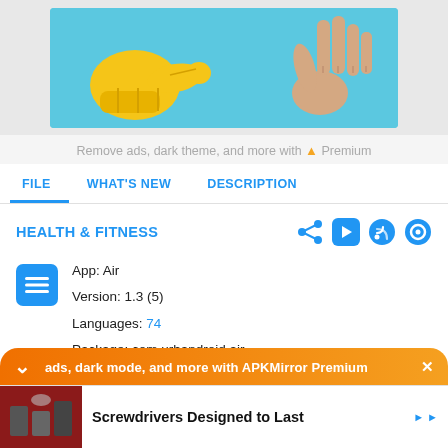[Figure (illustration): App banner showing a yellow pointing hand emoji and a drawn human hand on a light blue background]
Remove ads, dark theme, and more with ▲ Premium
FILE   WHAT'S NEW   DESCRIPTION
HEALTH & FITNESS
App: Air
Version: 1.3 (5)
Languages: 74
Package: com.urbandroid.air
Downloads: 18
ads, dark mode, and more with APKMirror Premium  ✕
Screwdrivers Designed to Last